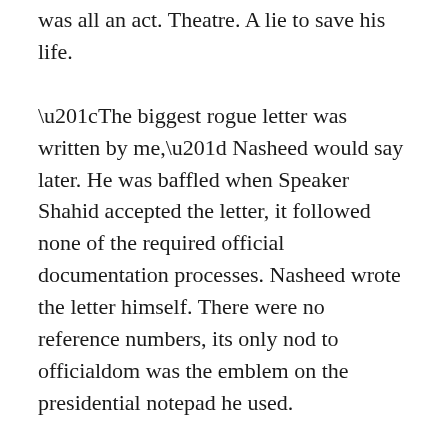was all an act. Theatre. A lie to save his life.
“The biggest rogue letter was written by me,” Nasheed would say later. He was baffled when Speaker Shahid accepted the letter, it followed none of the required official documentation processes. Nasheed wrote the letter himself. There were no reference numbers, its only nod to officialdom was the emblem on the presidential notepad he used.
Shahid is the type of person who takes pride in receiving letters. Normally, he would have telephoned Nasheed on receipt of the letter. On this day, he was silent. There was no contact. Official documentation rules require proof receipt. No such record exists for President Nasheed’s resignation letter.
Before the press conference, Nazim dictated to him